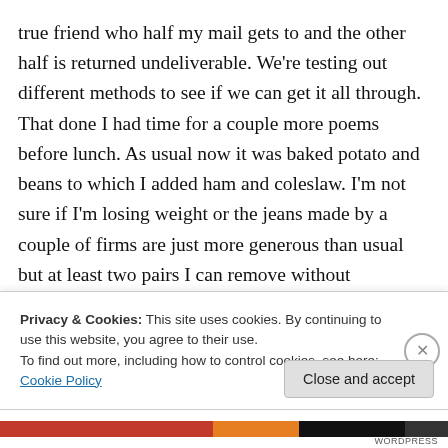true friend who half my mail gets to and the other half is returned undeliverable. We're testing out different methods to see if we can get it all through. That done I had time for a couple more poems before lunch. As usual now it was baked potato and beans to which I added ham and coleslaw. I'm not sure if I'm losing weight or the jeans made by a couple of firms are just more generous than usual but at least two pairs I can remove without unfastening. My friend suggests I may not be far off mooning at everyone. I'll wear braces just in case, I don't want anyone thinking there's an eclipse. During lunch I
Privacy & Cookies: This site uses cookies. By continuing to use this website, you agree to their use.
To find out more, including how to control cookies, see here: Cookie Policy